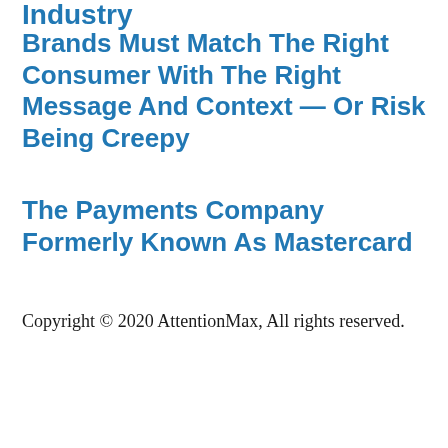Industry
Brands Must Match The Right Consumer With The Right Message And Context — Or Risk Being Creepy
The Payments Company Formerly Known As Mastercard
Copyright © 2020 AttentionMax, All rights reserved.